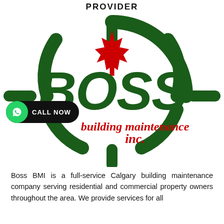PROVIDER
[Figure (logo): BOSS Building Maintenance Inc. logo with green circular target/crosshair design, red Canadian maple leaf at top, large green BOSS text, red 'building maintenance inc.' text, and a CALL NOW button with WhatsApp icon overlay]
Boss BMI is a full-service Calgary building maintenance company serving residential and commercial property owners throughout the area. We provide services for all